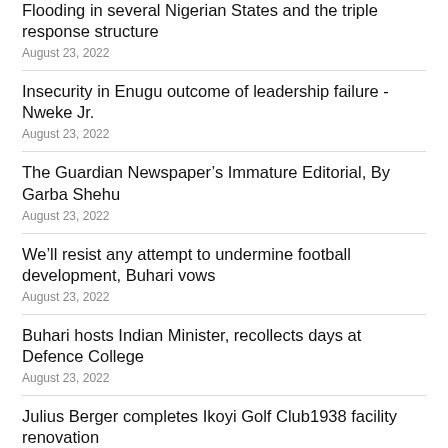Flooding in several Nigerian States and the triple response structure
August 23, 2022
Insecurity in Enugu outcome of leadership failure - Nweke Jr.
August 23, 2022
The Guardian Newspaper’s Immature Editorial, By Garba Shehu
August 23, 2022
We’ll resist any attempt to undermine football development, Buhari vows
August 23, 2022
Buhari hosts Indian Minister, recollects days at Defence College
August 23, 2022
Julius Berger completes Ikoyi Golf Club1938 facility renovation